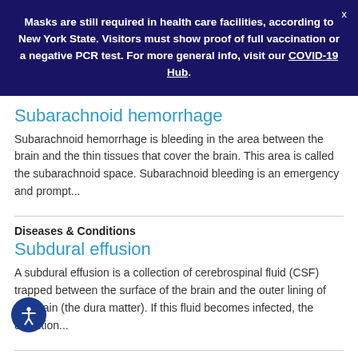Masks are still required in health care facilities, according to New York State. Visitors must show proof of full vaccination or a negative PCR test. For more general info, visit our COVID-19 Hub.
Subarachnoid hemorrhage
Subarachnoid hemorrhage is bleeding in the area between the brain and the thin tissues that cover the brain. This area is called the subarachnoid space. Subarachnoid bleeding is an emergency and prompt...
Diseases & Conditions
Subdural effusion
A subdural effusion is a collection of cerebrospinal fluid (CSF) trapped between the surface of the brain and the outer lining of the brain (the dura matter). If this fluid becomes infected, the condition...
Diseases & Conditions